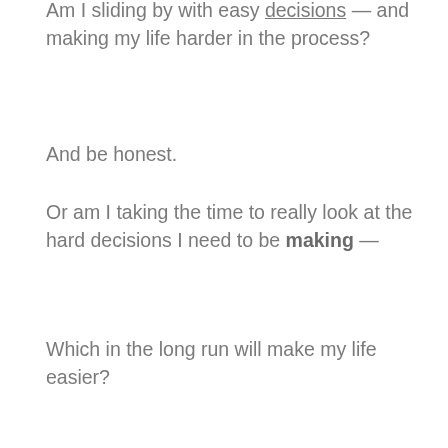Am I sliding by with easy decisions — and making my life harder in the process?
And be honest.
Or am I taking the time to really look at the hard decisions I need to be making —
Which in the long run will make my life easier?